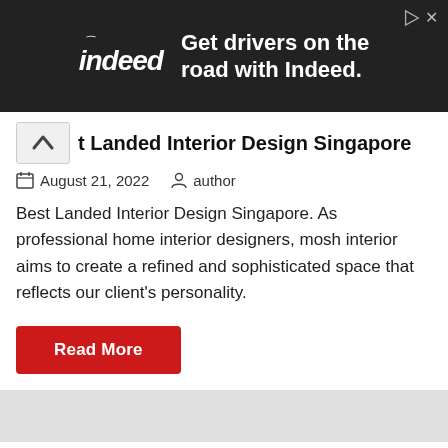[Figure (screenshot): Indeed advertisement banner: dark background with Indeed logo and text 'Get drivers on the road with Indeed.']
t Landed Interior Design Singapore
August 21, 2022   author
Best Landed Interior Design Singapore. As professional home interior designers, mosh interior aims to create a refined and sophisticated space that reflects our client's personality.
Read More